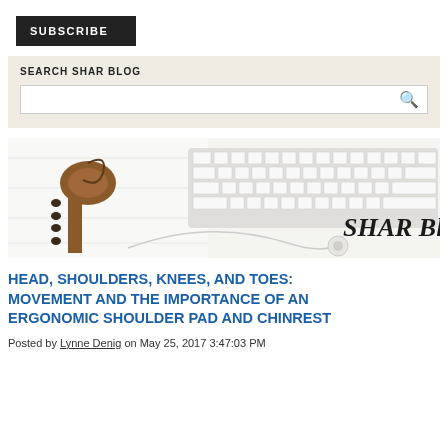SUBSCRIBE
SEARCH SHAR BLOG
[Figure (illustration): SHAR Blog banner image showing a violin scroll and white keyboard on left, with earbuds and SHAR Blog text on right]
HEAD, SHOULDERS, KNEES, AND TOES: MOVEMENT AND THE IMPORTANCE OF AN ERGONOMIC SHOULDER PAD AND CHINREST
Posted by Lynne Denig on May 25, 2017 3:47:03 PM